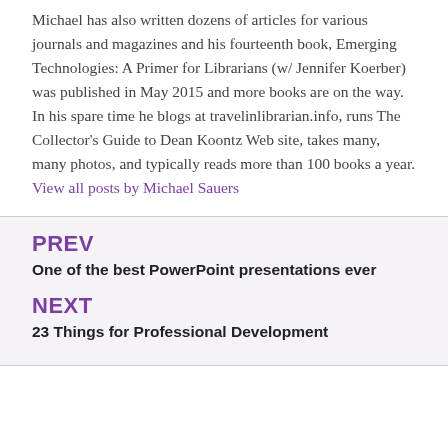Michael has also written dozens of articles for various journals and magazines and his fourteenth book, Emerging Technologies: A Primer for Librarians (w/ Jennifer Koerber) was published in May 2015 and more books are on the way. In his spare time he blogs at travelinlibrarian.info, runs The Collector's Guide to Dean Koontz Web site, takes many, many photos, and typically reads more than 100 books a year. View all posts by Michael Sauers
PREV
One of the best PowerPoint presentations ever
NEXT
23 Things for Professional Development